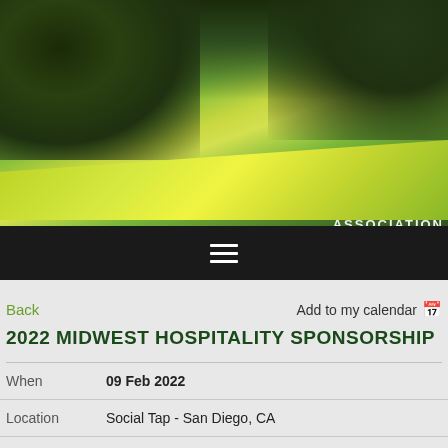[Figure (photo): Golf course with lush green fairway, trees in background, bright sunlight with 'MI ASSOCIATION' logo overlay in bottom right]
Back
Add to my calendar
2022 MIDWEST HOSPITALITY SPONSORSHIP
When	09 Feb 2022
Location	Social Tap - San Diego, CA